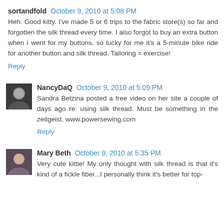sortandfold  October 9, 2010 at 5:08 PM
Heh. Good kitty. I've made 5 or 6 trips to the fabric store(s) so far and forgotten the silk thread every time. I also forgot to buy an extra button when I went for my buttons, so lucky for me it's a 5-minute bike ride for another button and silk thread. Tailoring = exercise!
Reply
NancyDaQ  October 9, 2010 at 5:09 PM
Sandra Betzina posted a free video on her site a couple of days ago re: using silk thread. Must be something in the zeitgeist. www.powersewing.com
Reply
Mary Beth  October 9, 2010 at 5:35 PM
Very cute kittie! My only thought with silk thread is that it's kind of a fickle fiber...I personally think it's better for top-